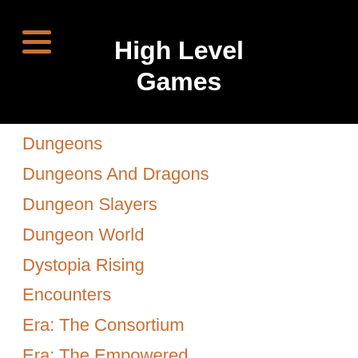High Level Games
Dungeons
Dungeons And Dragons
Dungeon Slayers
Dungeon World
Dystopia Rising
Encounters
Era: The Consortium
Era: The Empowered
Esper Genesis
Evil Hat
Exalted
Faith RPG
Fandom
Fantasy-age
Fantasy-flight